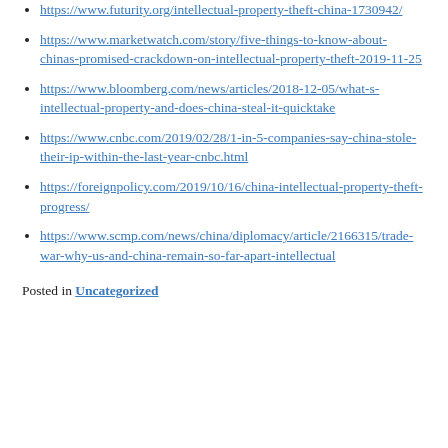https://www.futurity.org/intellectual-property-theft-china-1730942/
https://www.marketwatch.com/story/five-things-to-know-about-chinas-promised-crackdown-on-intellectual-property-theft-2019-11-25
https://www.bloomberg.com/news/articles/2018-12-05/what-s-intellectual-property-and-does-china-steal-it-quicktake
https://www.cnbc.com/2019/02/28/1-in-5-companies-say-china-stole-their-ip-within-the-last-year-cnbc.html
https://foreignpolicy.com/2019/10/16/china-intellectual-property-theft-progress/
https://www.scmp.com/news/china/diplomacy/article/2166315/trade-war-why-us-and-china-remain-so-far-apart-intellectual
Posted in Uncategorized
RECENT POSTS